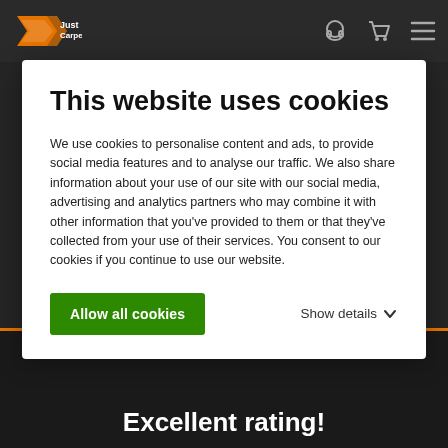[Figure (logo): Just Carpets logo with orange arrow/flag icon and text 'Just Carpets' in dark color]
This website uses cookies
We use cookies to personalise content and ads, to provide social media features and to analyse our traffic. We also share information about your use of our site with our social media, advertising and analytics partners who may combine it with other information that you've provided to them or that they've collected from your use of their services. You consent to our cookies if you continue to use our website.
Allow all cookies
Show details
Excellent rating!